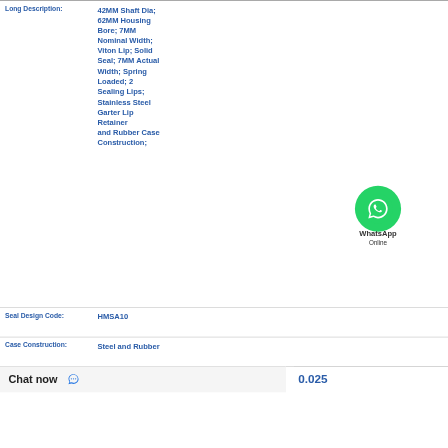| Field | Value |
| --- | --- |
| Long Description: | 42MM Shaft Dia; 62MM Housing Bore; 7MM Nominal Width; Viton Lip; Solid Seal; 7MM Actual Width; Spring Loaded; 2 Sealing Lips; Stainless Steel Garter Lip Retainer and Rubber Case Construction; |
| Seal Design Code: | HMSA10 |
| Case Construction: | Steel and Rubber |
|  | 0.025 |